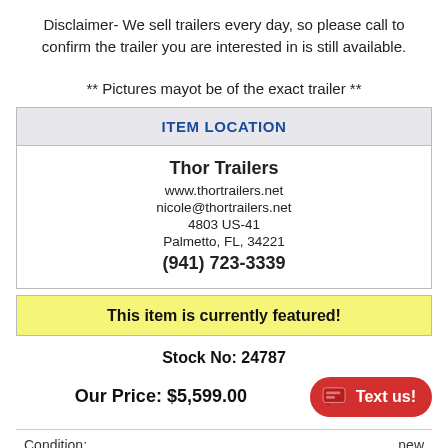Disclaimer- We sell trailers every day, so please call to confirm the trailer you are interested in is still available.
** Pictures mayot be of the exact trailer **
| ITEM LOCATION |
| --- |
| Thor Trailers
www.thortrailers.net
nicole@thortrailers.net
4803 US-41
Palmetto, FL, 34221
(941) 723-3339 |
This item is currently featured!
Stock No: 24787
Our Price: $5,599.00
Condition:
new